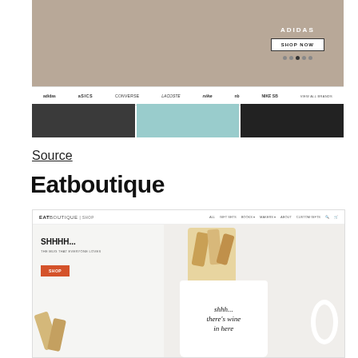[Figure (screenshot): Screenshot of a shoe/sneaker e-commerce website showing hero banner with sneakers, brand logos (adidas, ASICS, Converse, Lacoste, Nike, New Balance, Nike SB, VIEW ALL BRANDS), and product image row]
Source
Eatboutique
[Figure (screenshot): Screenshot of Eatboutique shop website showing navigation with EATBOUTIQUE SHOP logo and menu links, hero section with 'SHHHH... THE MUG THAT EVERYONE LOVES' text, orange SHOP button, and a white mug filled with wine corks with text 'shhh... there's wine in here']